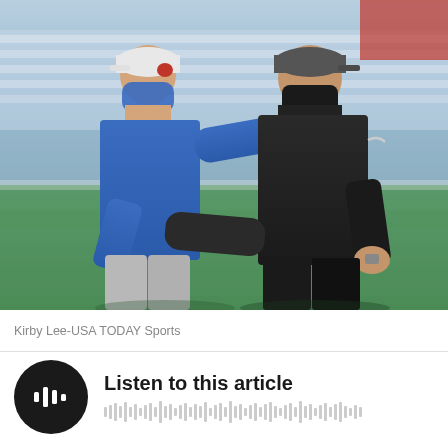[Figure (photo): Two NFL coaches wearing face masks doing an elbow bump greeting on the field. The coach on the left wears a blue Buffalo Bills long-sleeve shirt and white cap with a face mask. The coach on the right wears a black Raiders shirt and dark cap with a black neck gaiter covering his face. Green football field turf is visible in the background with stadium seating.]
Kirby Lee-USA TODAY Sports
Listen to this article